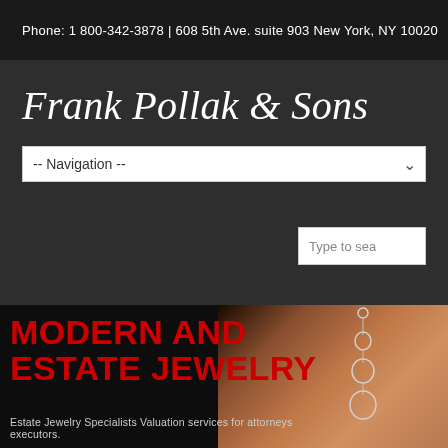Phone: 1 800-342-3878 | 608 5th Ave. suite 903 New York, NY 10020
Frank Pollak & Sons
-- Navigation --
Type to sea
MODERN AND ESTATE JEWELRY
Estate Jewelry Specialists Valuation services for attorneys executors.